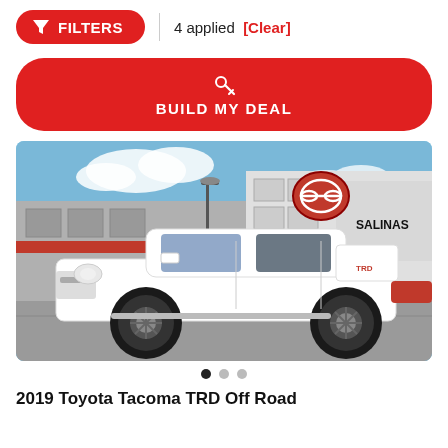FILTERS | 4 applied [Clear]
[Figure (screenshot): Red BUILD MY DEAL button with key icon]
[Figure (photo): White 2019 Toyota Tacoma TRD Off Road truck parked in front of Toyota Salinas dealership building on a sunny day]
2019 Toyota Tacoma TRD Off Road